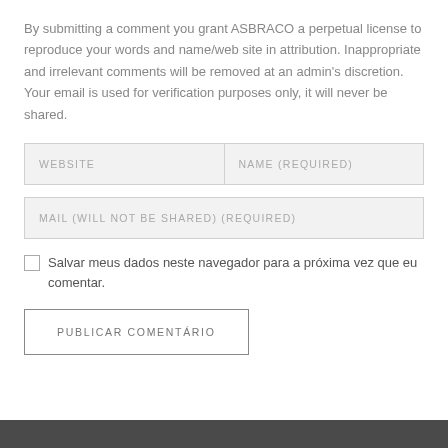By submitting a comment you grant ASBRACO a perpetual license to reproduce your words and name/web site in attribution. Inappropriate and irrelevant comments will be removed at an admin's discretion. Your email is used for verification purposes only, it will never be shared.
WEBSITE
NAME (required)
MAIL (will not be shared) (required)
Salvar meus dados neste navegador para a próxima vez que eu comentar.
PUBLICAR COMENTÁRIO